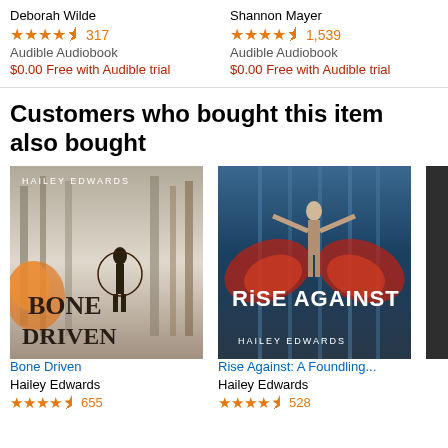Deborah Wilde
4.5 stars 317
Audible Audiobook
$0.00 Free with Audible trial
Shannon Mayer
4.5 stars 1,539
Audible Audiobook
$0.00 Free with Audible trial
T.
Au...
$0...
Customers who bought this item also bought
[Figure (photo): Book cover: Bone Driven by Hailey Edwards. Shows a figure standing in a snowy forest with orange fire elements and the title 'Bone Driven' in large text.]
[Figure (photo): Book cover: Rise Against: A Foundling... by Hailey Edwards. Shows a figure with red flames/wings against a blue background with vertical bars, title 'Rise Against' prominent.]
[Figure (photo): Partial book cover, third item, cropped on right edge.]
Bone Driven
Hailey Edwards
4.5 stars 655
Rise Against: A Foundling...
Hailey Edwards
4.5 stars 528